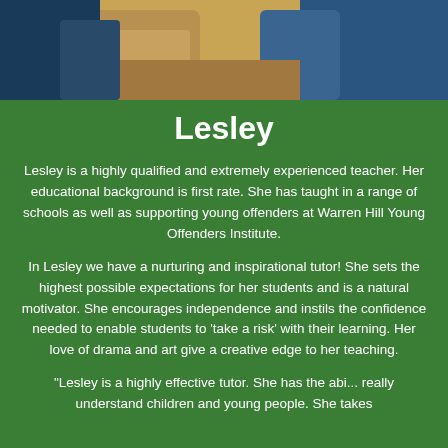[Figure (photo): Photo of a teacher or student working at a desk, partially visible at the top of the page]
Lesley
Lesley is a highly qualified and extremely experienced teacher. Her educational background is first rate. She has taught in a range of schools as well as supporting young offenders at Warren Hill Young Offenders Institute.
In Lesley we have a nurturing and inspirational tutor! She sets the highest possible expectations for her students and is a natural motivator. She encourages independence and instils the confidence needed to enable students to 'take a risk' with their learning. Her love of drama and art give a creative edge to her teaching.
"Lesley is a highly effective tutor. She has the abi... really understand children and young people. She takes